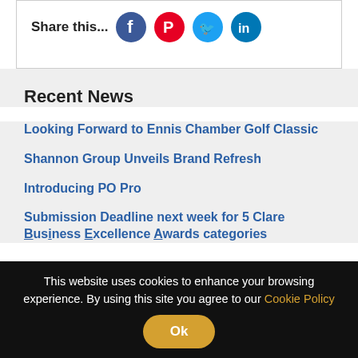Share this...
Recent News
Looking Forward to Ennis Chamber Golf Classic
Shannon Group Unveils Brand Refresh
Introducing PO Pro
Submission Deadline next week for 5 Clare Business Excellence Awards categories
This website uses cookies to enhance your browsing experience. By using this site you agree to our Cookie Policy Ok